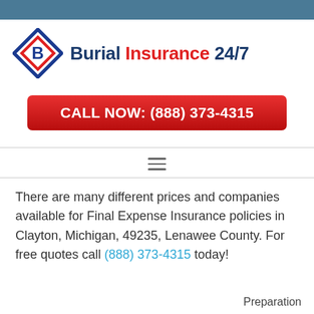[Figure (logo): Burial Insurance 24/7 logo with diamond shield icon containing letter B in blue and red, with company name in dark blue and red text]
[Figure (other): Red call-to-action button reading CALL NOW: (888) 373-4315]
[Figure (other): Hamburger menu icon (three horizontal lines)]
There are many different prices and companies available for Final Expense Insurance policies in Clayton, Michigan, 49235, Lenawee County. For free quotes call (888) 373-4315 today!
Preparation